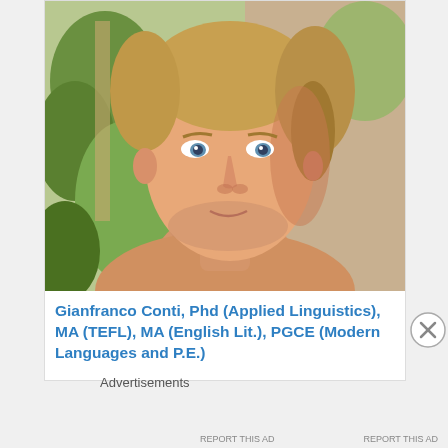[Figure (photo): Portrait photo of a middle-aged man with blonde/brown hair, light skin, slight stubble, wearing no shirt visible, with green foliage in background]
Gianfranco Conti, Phd (Applied Linguistics), MA (TEFL), MA (English Lit.), PGCE (Modern Languages and P.E.)
Advertisements